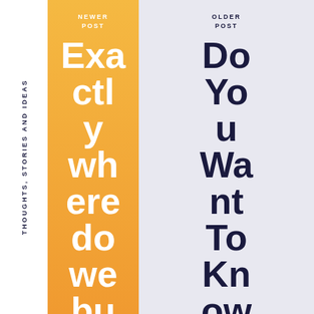THOUGHTS, STORIES AND IDEAS
NEWER POST
Exactly where do we buy shrooms
OLDER POST
Do You Want To Know More Ab